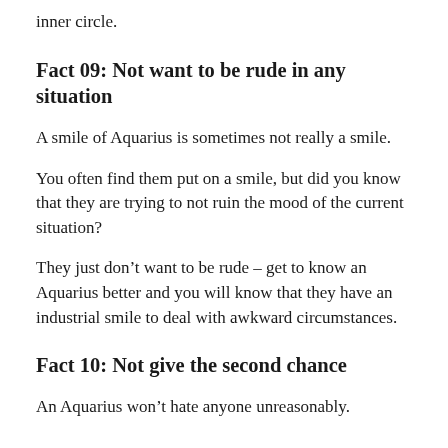inner circle.
Fact 09: Not want to be rude in any situation
A smile of Aquarius is sometimes not really a smile.
You often find them put on a smile, but did you know that they are trying to not ruin the mood of the current situation?
They just don’t want to be rude – get to know an Aquarius better and you will know that they have an industrial smile to deal with awkward circumstances.
Fact 10: Not give the second chance
An Aquarius won’t hate anyone unreasonably.